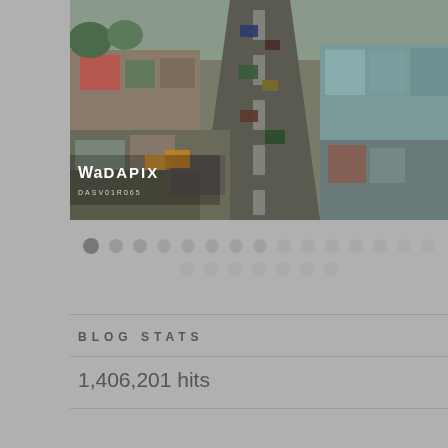[Figure (photo): Aerial drone view of a busy urban street/market area with vehicles, buildings, and a road running through the center. Watermark reads 'Wa DAPIX' with small text below.]
• • • • • • • • • • • • • • • (pagination dots, first active)
BLOG STATS
1,406,201 hits